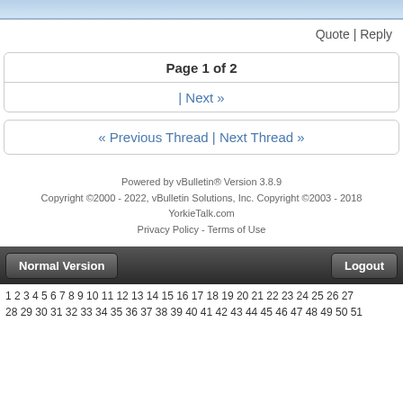Quote | Reply
Page 1 of 2
| Next »
« Previous Thread | Next Thread »
Powered by vBulletin® Version 3.8.9
Copyright ©2000 - 2022, vBulletin Solutions, Inc. Copyright ©2003 - 2018 YorkieTalk.com
Privacy Policy - Terms of Use
Normal Version
Logout
1 2 3 4 5 6 7 8 9 10 11 12 13 14 15 16 17 18 19 20 21 22 23 24 25 26 27
28 29 30 31 32 33 34 35 36 37 38 39 40 41 42 43 44 45 46 47 48 49 50 51